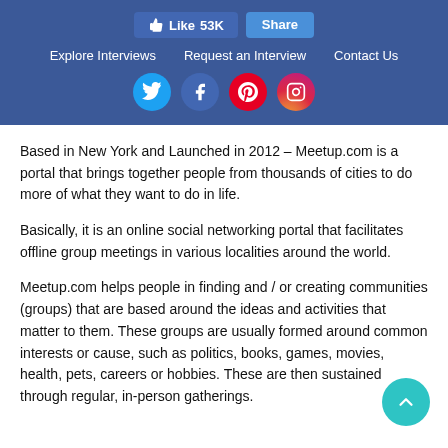[Figure (infographic): Social media header bar with Facebook Like (53K) and Share buttons, navigation links (Explore Interviews, Request an Interview, Contact Us), and social media icons for Twitter, Facebook, Pinterest, and Instagram on a dark blue background.]
Based in New York and Launched in 2012 – Meetup.com is a portal that brings together people from thousands of cities to do more of what they want to do in life.
Basically, it is an online social networking portal that facilitates offline group meetings in various localities around the world.
Meetup.com helps people in finding and / or creating communities (groups) that are based around the ideas and activities that matter to them. These groups are usually formed around common interests or cause, such as politics, books, games, movies, health, pets, careers or hobbies. These are then sustained through regular, in-person gatherings.